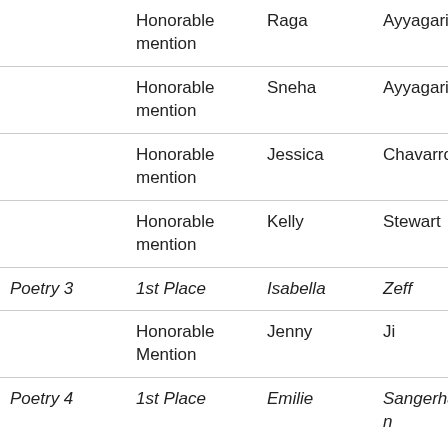| Category | Award | First Name | Last Name |  |
| --- | --- | --- | --- | --- |
|  | Honorable mention | Raga | Ayyagari |  |
|  | Honorable mention | Sneha | Ayyagari |  |
|  | Honorable mention | Jessica | Chavarro |  |
|  | Honorable mention | Kelly | Stewart | A |
| Poetry 3 | 1st Place | Isabella | Zeff | A |
|  | Honorable Mention | Jenny | Ji | - |
| Poetry 4 | 1st Place | Emilie | Sangerhausen | - |